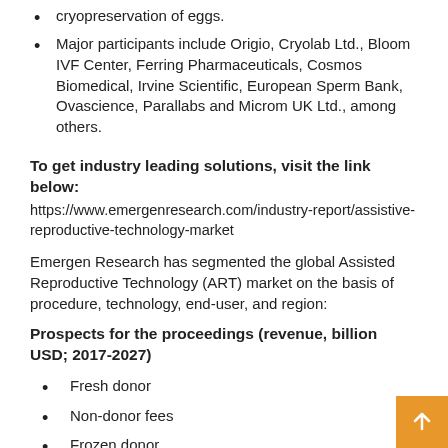cryopreservation of eggs.
Major participants include Origio, Cryolab Ltd., Bloom IVF Center, Ferring Pharmaceuticals, Cosmos Biomedical, Irvine Scientific, European Sperm Bank, Ovascience, Parallabs and Microm UK Ltd., among others.
To get industry leading solutions, visit the link below:
https://www.emergenresearch.com/industry-report/assistive-reproductive-technology-market
Emergen Research has segmented the global Assisted Reproductive Technology (ART) market on the basis of procedure, technology, end-user, and region:
Prospects for the proceedings (revenue, billion USD; 2017-2027)
Fresh donor
Non-donor fees
Frozen donor